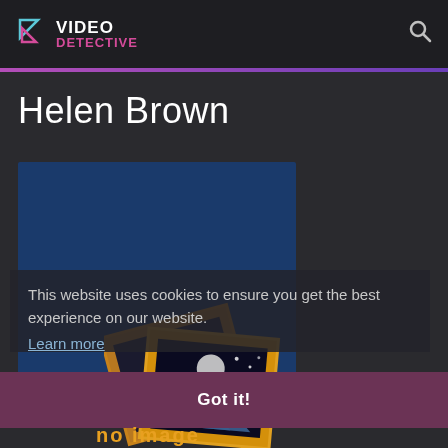VIDEO DETECTIVE
Helen Brown
[Figure (screenshot): Blue placeholder image card area for Helen Brown profile]
This website uses cookies to ensure you get the best experience on our website.
Learn more
[Figure (illustration): Stacked orange-framed image placeholder icons showing a moon and mountain silhouette scene]
Got it!
no image